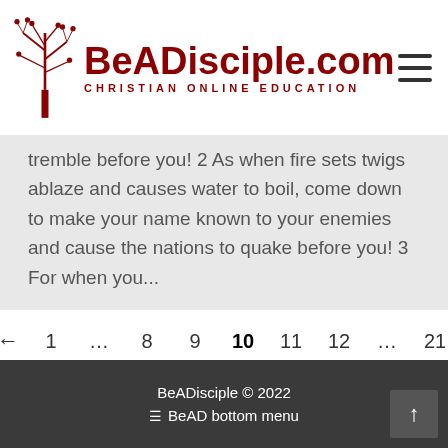BeADisciple.com — CHRISTIAN ONLINE EDUCATION
tremble before you! 2 As when fire sets twigs ablaze and causes water to boil, come down to make your name known to your enemies and cause the nations to quake before you! 3 For when you...
← 1 … 8 9 10 11 12 … 21 →
BeADisciple © 2022 | BeAD bottom menu